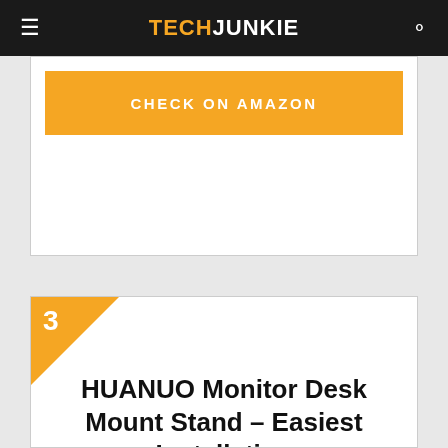TECHJUNKIE
CHECK ON AMAZON
HUANUO Monitor Desk Mount Stand – Easiest Installation
[Figure (photo): Photo of HUANUO dual monitor desk mount stand arms, silver/metallic finish, shown from front view with two articulating arm assemblies]